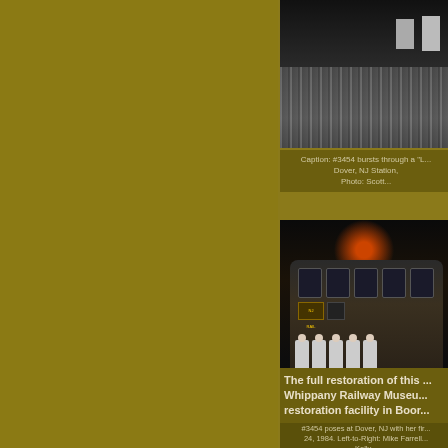[Figure (photo): Black and white/dark photo of train tracks with people standing near them, partially cropped at right edge]
Caption: #3454 bursts through a "L... Dover, NJ Station, Photo: Scott...
[Figure (photo): Night photo of railroad car #3454 with crew members standing in front, illuminated by headlight]
#3454 poses at Dover, NJ with her fir... 24, 1984. Left-to-Right: Mike Farrell... Kelly... Photo: Rich...
The full restoration of this ... Whippany Railway Museu... restoration facility in Boor...